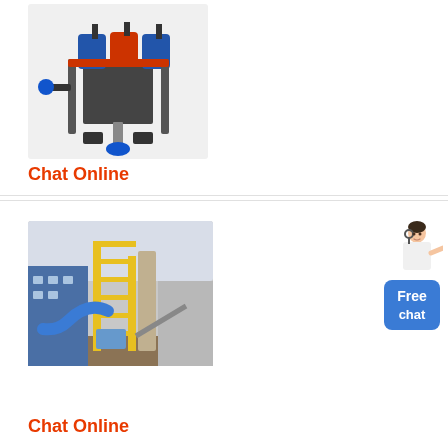[Figure (photo): 3D rendering of an industrial drilling or injection machine with blue barrels on top, mechanical arms, and various pipes and connectors.]
Chat Online
[Figure (photo): Photograph of a large industrial plant facility with yellow structural scaffolding, blue ducts/pipes, and industrial buildings in the background.]
Chat Online
[Figure (illustration): Free chat widget showing a woman in white pointing, with a blue rounded rectangle button labeled 'Free chat'.]